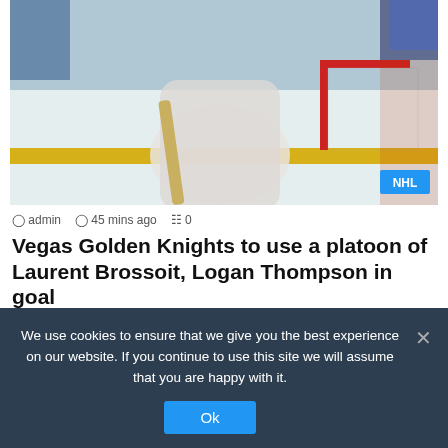[Figure (photo): Hockey goaltender in white Vegas Golden Knights gear in front of a net on the ice, with a yellow rink board visible in the background. An NHL badge is overlaid in the bottom right corner.]
admin  45 mins ago  0
Vegas Golden Knights to use a platoon of Laurent Brossoit, Logan Thompson in goal
The Vegas Golden Knights are staying in-house to replace injured starting goaltender Robin Lehner, who will miss the 2022-23 NHL…
We use cookies to ensure that we give you the best experience on our website. If you continue to use this site we will assume that you are happy with it.